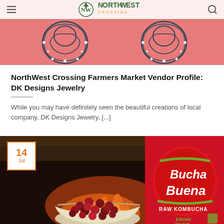[Figure (screenshot): NorthWest Crossing website header with logo, hamburger menu, and decorative earrings on red/pink background]
NorthWest Crossing Farmers Market Vendor Profile: DK Designs Jewelry
While you may have definitely seen the beautiful creations of local company, DK Designs Jewelry, [...]
[Figure (photo): Photo of a bowl of cranberries in front of a fireplace next to a Bucha Buena Raw Kombucha bottle, with a date badge showing 14 Jul]